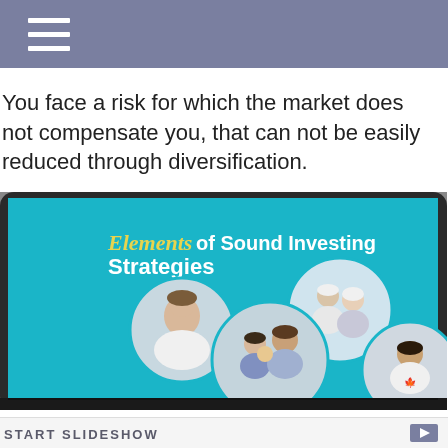You face a risk for which the market does not compensate you, that can not be easily reduced through diversification.
[Figure (photo): A tablet device displaying a brochure cover titled 'Elements of Sound Investing Strategies' with circular photos of diverse people including a young woman, an elderly couple, a family, and a young man, on a teal background.]
START SLIDESHOW